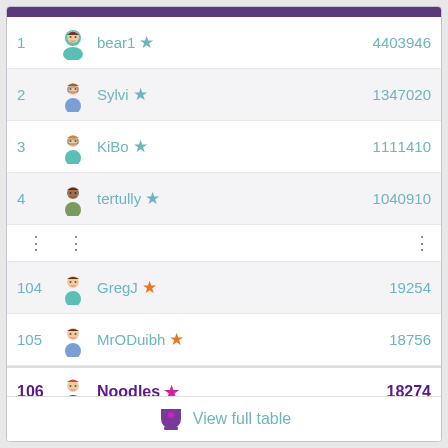| Rank | Avatar | Name | Score |
| --- | --- | --- | --- |
| 1 | 👧 | bear1 ★ | 4403946 |
| 2 | 👓 | Sylvi ★ | 1347020 |
| 3 | 🤓 | KiBo ★ | 1111410 |
| 4 | 🧑 | tertully ★ | 1040910 |
| ⋮ | ⋮ |  | ⋮ |
| 104 | 😊 | GregJ ★ | 19254 |
| 105 | 😏 | MrODuibh ★ | 18756 |
| 106 | 😄 | Noodles ★ | 18274 |
| 107 | 👧 | wks ★ | 16984 |
| 108 | 😊 | roow110 ★ | 16518 |
View full table